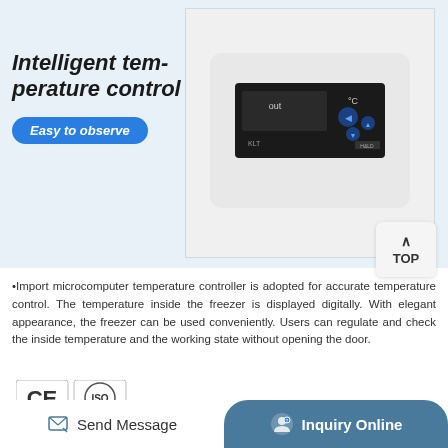Intelligent temperature control
Easy to observe
[Figure (photo): Digital temperature controller unit showing LCD display with 'out' and °C labels, control buttons, brand KLT, mounted in white housing]
TOP
•Import microcomputer temperature controller is adopted for accurate temperature control. The temperature inside the freezer is displayed digitally. With elegant appearance, the freezer can be used conveniently. Users can regulate and check the inside temperature and the working state without opening the door.
[Figure (logo): CE and ISO certification logos]
Send Message
Inquiry Online